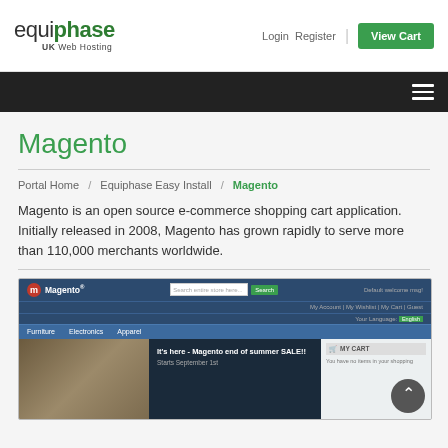[Figure (logo): Equiphase UK Web Hosting logo - 'equiphase' in black/green with 'UK Web Hosting' subtitle]
Login   Register   View Cart
[Figure (screenshot): Dark navigation bar with hamburger menu icon on the right]
Magento
Portal Home / Equiphase Easy Install / Magento
Magento is an open source e-commerce shopping cart application. Initially released in 2008, Magento has grown rapidly to serve more than 110,000 merchants worldwide.
[Figure (screenshot): Screenshot of the Magento e-commerce storefront interface showing logo, navigation bar with Furniture/Electronics/Apparel, search bar, and a summer sale banner]